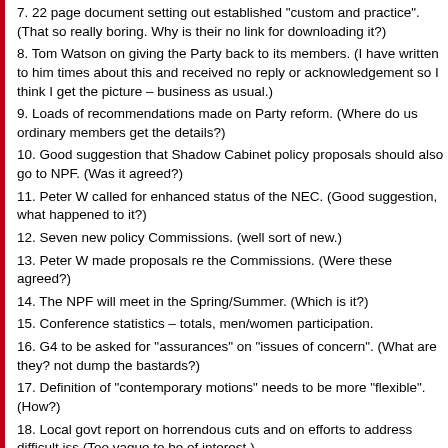7. 22 page document setting out established "custom and practice". (That so really boring. Why is their no link for downloading it?)
8. Tom Watson on giving the Party back to its members. (I have written to him times about this and received no reply or acknowledgement so I think I get the picture – business as usual.)
9. Loads of recommendations made on Party reform. (Where do us ordinary members get the details?)
10. Good suggestion that Shadow Cabinet policy proposals should also go to NPF. (Was it agreed?)
11. Peter W called for enhanced status of the NEC. (Good suggestion, what happened to it?)
12. Seven new policy Commissions. (well sort of new.)
13. Peter W made proposals re the Commissions. (Were these agreed?)
14. The NPF will meet in the Spring/Summer. (Which is it?)
15. Conference statistics – totals, men/women participation.
16. G4 to be asked for "assurances" on "issues of concern". (What are they? not dump the bastards?)
17. Definition of "contemporary motions" needs to be more "flexible". (How?)
18. Local govt report on horrendous cuts and on efforts to address difficult iss (Too vague to be of interest.)
19. General Sec: Party now debt-free, membership doubled to nearly 400,000 members asked what they want from the Party.
20. Oldham West by-election: major campaign underway.
21. 2016 elections for Scottish Parliament, Welsh Assembly, London Mayor, C local elections (England), police commissioners.
22. Andrew Fisher issue will be satisfactorily resolved very shortly. (That soun like it has already been resolved.)